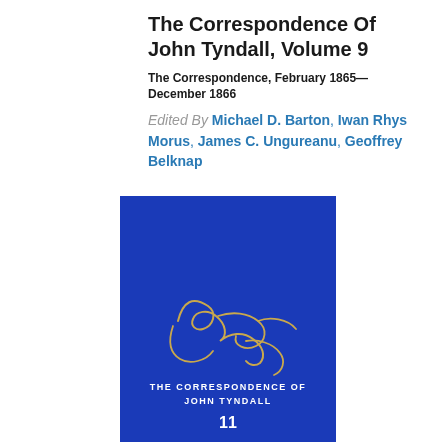The Correspondence Of John Tyndall, Volume 9
The Correspondence, February 1865—December 1866
Edited By Michael D. Barton, Iwan Rhys Morus, James C. Ungureanu, Geoffrey Belknap
[Figure (illustration): Blue hardcover book with gold signature of John Tyndall in the center, and the text 'THE CORRESPONDENCE OF JOHN TYNDALL' and number '11' at the bottom.]